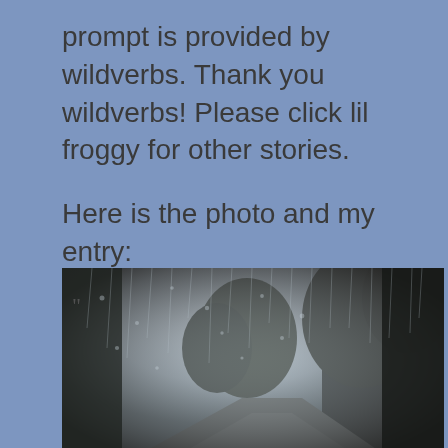prompt is provided by wildverbs. Thank you wildverbs! Please click lil froggy for other stories.
Here is the photo and my entry:
[Figure (photo): A photograph viewed through a rain-covered or foggy window showing a wet street/road, trees, and an overcast sky. The image is blurry and dark at the edges due to moisture on the glass.]